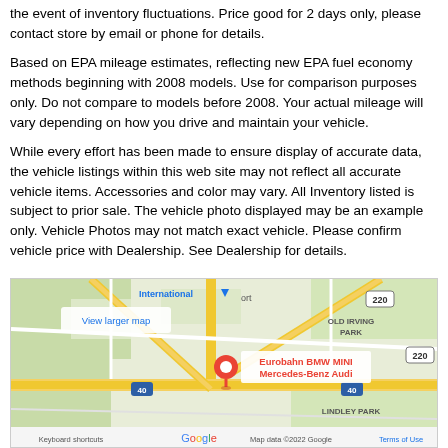the event of inventory fluctuations. Price good for 2 days only, please contact store by email or phone for details.
Based on EPA mileage estimates, reflecting new EPA fuel economy methods beginning with 2008 models. Use for comparison purposes only. Do not compare to models before 2008. Your actual mileage will vary depending on how you drive and maintain your vehicle.
While every effort has been made to ensure display of accurate data, the vehicle listings within this web site may not reflect all accurate vehicle items. Accessories and color may vary. All Inventory listed is subject to prior sale. The vehicle photo displayed may be an example only. Vehicle Photos may not match exact vehicle. Please confirm vehicle price with Dealership. See Dealership for details.
[Figure (map): Google Maps embed showing location of Eurobahn BMW MINI Mercedes-Benz Audi dealership. Map shows roads including I-40, highway 220, areas labeled Old Irving Park, Lindley Park, International Airport. 'View larger map' link visible. Red location pin marks the dealership. Google logo and attribution visible at bottom.]